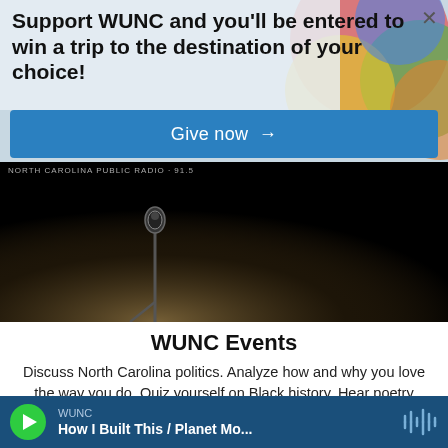Support WUNC and you'll be entered to win a trip to the destination of your choice!
Give now →
[Figure (photo): Microphone on stage with spotlight in dark background, with North Carolina Public Radio / WUNC logo text overlay]
WUNC Events
Discuss North Carolina politics. Analyze how and why you love the way you do. Quiz yourself on Black history. Hear poetry from NC's poet laureate. Meet NPR hosts and reporters. You never know where WUNC's events will take you. Join us for this
WUNC
How I Built This / Planet Mo...